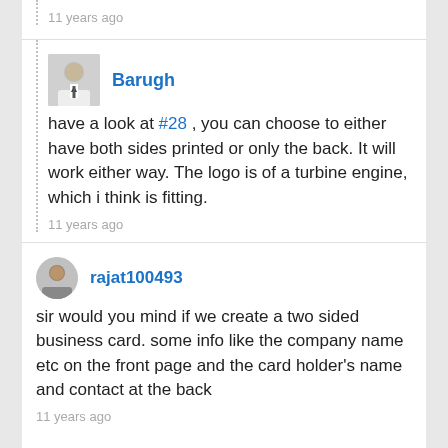11 years ago
Barugh
have a look at #28 , you can choose to either have both sides printed or only the back. It will work either way. The logo is of a turbine engine, which i think is fitting.
11 years ago
rajat100493
sir would you mind if we create a two sided business card. some info like the company name etc on the front page and the card holder's name and contact at the back
11 years ago